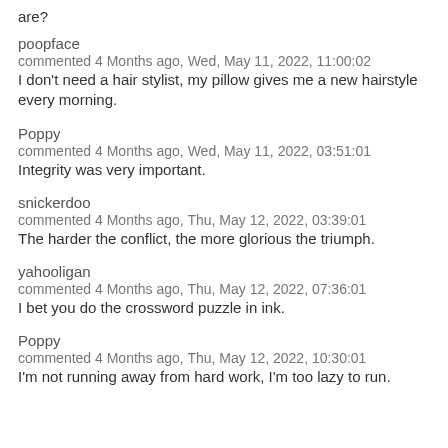are?
poopface
commented 4 Months ago, Wed, May 11, 2022, 11:00:02
I don't need a hair stylist, my pillow gives me a new hairstyle every morning.
Poppy
commented 4 Months ago, Wed, May 11, 2022, 03:51:01
Integrity was very important.
snickerdoo
commented 4 Months ago, Thu, May 12, 2022, 03:39:01
The harder the conflict, the more glorious the triumph.
yahooligan
commented 4 Months ago, Thu, May 12, 2022, 07:36:01
I bet you do the crossword puzzle in ink.
Poppy
commented 4 Months ago, Thu, May 12, 2022, 10:30:01
I'm not running away from hard work, I'm too lazy to run.